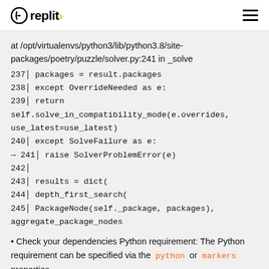replit
at /opt/virtualenvs/python3/lib/python3.8/site-packages/poetry/puzzle/solver.py:241 in _solve
[Figure (screenshot): Code snippet showing lines 237-245 of solver.py with arrow pointing to line 241: raise SolverProblemError(e)]
Check your dependencies Python requirement: The Python requirement can be specified via the python or markers properties